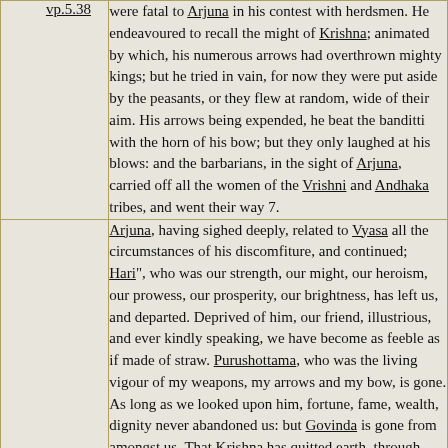were fatal to Arjuna in his contest with herdsmen. He endeavoured to recall the might of Krishna; animated by which, his numerous arrows had overthrown mighty kings; but he tried in vain, for now they were put aside by the peasants, or they flew at random, wide of their aim. His arrows being expended, he beat the banditti with the horn of his bow; but they only laughed at his blows: and the barbarians, in the sight of Arjuna, carried off all the women of the Vrishni and Andhaka tribes, and went their way 7.
vp.5.38
Arjuna, having sighed deeply, related to Vyasa all the circumstances of his discomfiture, and continued; Hari", who was our strength, our might, our heroism, our prowess, our prosperity, our brightness, has left us, and departed. Deprived of him, our friend, illustrious, and ever kindly speaking, we have become as feeble as if made of straw. Purushottama, who was the living vigour of my weapons, my arrows and my bow, is gone. As long as we looked upon him, fortune, fame, wealth, dignity never abandoned us: but Govinda is gone from amongst us. That Krishna has quitted earth, through